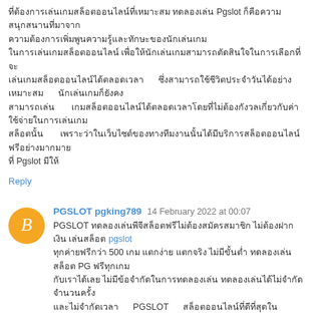Thai text paragraph mentioning Pgslot
Reply
PGSLOT pgking789 14 February 2022 at 00:07
PGSLOT Thai text paragraph mentioning pgslot and PGSLOT